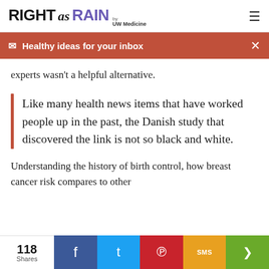RIGHT as RAIN by UW Medicine
Healthy ideas for your inbox
experts wasn't a helpful alternative.
Like many health news items that have worked people up in the past, the Danish study that discovered the link is not so black and white.
Understanding the history of birth control, how breast cancer risk compares to other
118 Shares